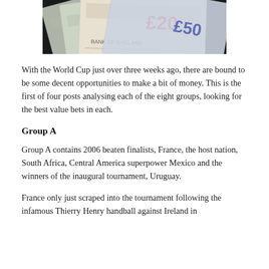[Figure (photo): Close-up photo of British currency banknotes including a £20 note fanned out]
With the World Cup just over three weeks ago, there are bound to be some decent opportunities to make a bit of money. This is the first of four posts analysing each of the eight groups, looking for the best value bets in each.
Group A
Group A contains 2006 beaten finalists, France, the host nation, South Africa, Central America superpower Mexico and the winners of the inaugural tournament, Uruguay.
France only just scraped into the tournament following the infamous Thierry Henry handball against Ireland in